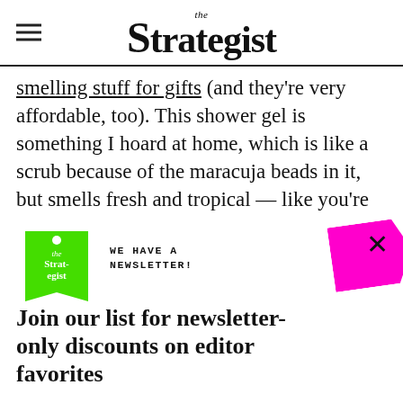the Strategist
smelling stuff for gifts (and they’re very affordable, too). This shower gel is something I hoard at home, which is like a scrub because of the maracuja beads in it, but smells fresh and tropical — like you’re
[Figure (infographic): Newsletter signup popup overlay for The Strategist. Contains green tag logo with 'the Strat-egist' text, 'WE HAVE A NEWSLETTER!' label, colorful paper/tag decorative shapes in magenta, green, cyan, orange. Headline: 'Join our list for newsletter-only discounts on editor favorites'. Subtext: 'Plus actually good sales, expert picks, and excellent gift ideas'. Email input field and SIGN ME UP button. NO THANKS strikethrough link at bottom. X close button in top right.]